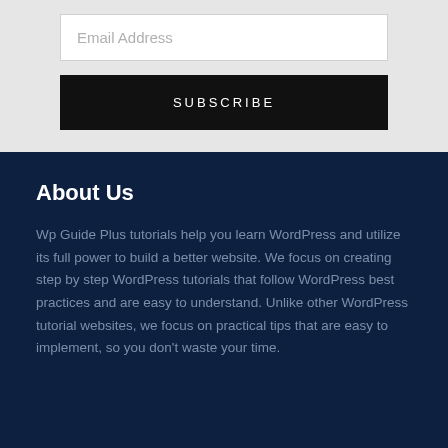Email Address
SUBSCRIBE
About Us
Wp Guide Plus tutorials help you learn WordPress and utilize its full power to build a better website. We focus on creating step by step WordPress tutorials that follow WordPress best practices and are easy to understand. Unlike other WordPress tutorial websites, we focus on practical tips that are easy to implement, so you don't waste your time.